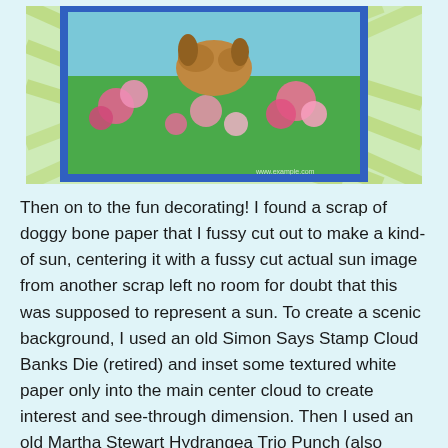[Figure (photo): A colorful pop-up style card or box decorated with a dog, flowers (pink blooms), and grass on a green and plaid patterned background with blue borders.]
Then on to the fun decorating! I found a scrap of doggy bone paper that I fussy cut out to make a kind-of sun, centering it with a fussy cut actual sun image from another scrap left no room for doubt that this was supposed to represent a sun. To create a scenic background, I used an old Simon Says Stamp Cloud Banks Die (retired) and inset some textured white paper only into the main center cloud to create interest and see-through dimension. Then I used an old Martha Stewart Hydrangea Trio Punch (also retired; but THIS ONE from EK Success is very similar), various pink patterned paper scraps, and a Copic RV09 to create the feeling of a bountiful summer flower garden. The clouds and many of the flowers were attached with Ranger Multi Medium Matte to clear plastic strips I